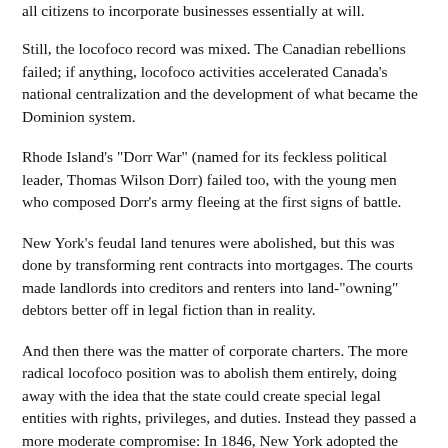all citizens to incorporate businesses essentially at will.
Still, the locofoco record was mixed. The Canadian rebellions failed; if anything, locofoco activities accelerated Canada's national centralization and the development of what became the Dominion system.
Rhode Island's "Dorr War" (named for its feckless political leader, Thomas Wilson Dorr) failed too, with the young men who composed Dorr's army fleeing at the first signs of battle.
New York's feudal land tenures were abolished, but this was done by transforming rent contracts into mortgages. The courts made landlords into creditors and renters into land-"owning" debtors better off in legal fiction than in reality.
And then there was the matter of corporate charters. The more radical locofoco position was to abolish them entirely, doing away with the idea that the state could create special legal entities with rights, privileges, and duties. Instead they passed a more moderate compromise: In 1846, New York adopted the practice of general incorporation, opening the corporate form to any business that met certain minimum